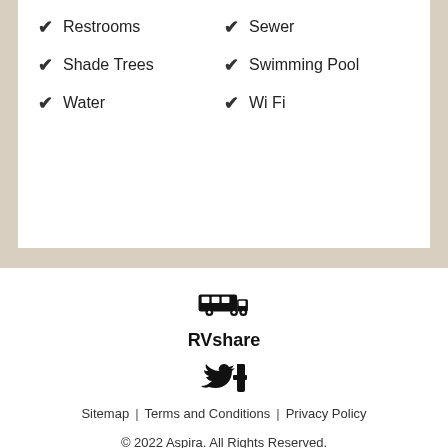✔ Restrooms
✔ Sewer
✔ Shade Trees
✔ Swimming Pool
✔ Water
✔ Wi Fi
[Figure (logo): RVshare RV/truck icon logo]
RVshare
[Figure (logo): Twitter and Facebook social media icons]
Sitemap | Terms and Conditions | Privacy Policy
© 2022 Aspira. All Rights Reserved.
Trademarks are property of their respective owners.
[Figure (logo): DigiCert Secured badge with blue checkmark arc]